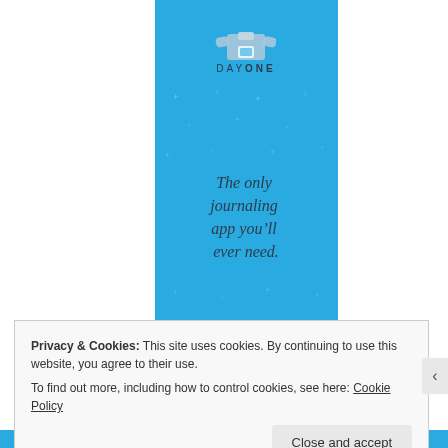[Figure (screenshot): Advertisement banner for Day One journaling app with light blue background, small star/plus decorations, an illustration of hands holding a phone/book at top, the text 'DAY ONE' as a logo, and the tagline 'The only journaling app you'll ever need.' in italic serif font.]
Privacy & Cookies: This site uses cookies. By continuing to use this website, you agree to their use.
To find out more, including how to control cookies, see here: Cookie Policy
Close and accept